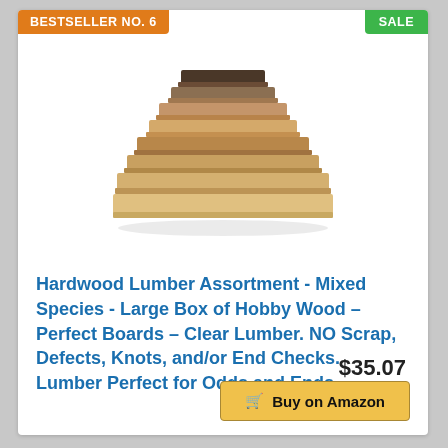BESTSELLER NO. 6
SALE
[Figure (photo): Stack of hardwood lumber boards in various species and sizes arranged in a stepped pyramid shape, showing different wood tones from light tan to dark brown.]
Hardwood Lumber Assortment - Mixed Species - Large Box of Hobby Wood – Perfect Boards – Clear Lumber. NO Scrap, Defects, Knots, and/or End Checks. Lumber Perfect for Odds and Ends.
$35.07
Buy on Amazon